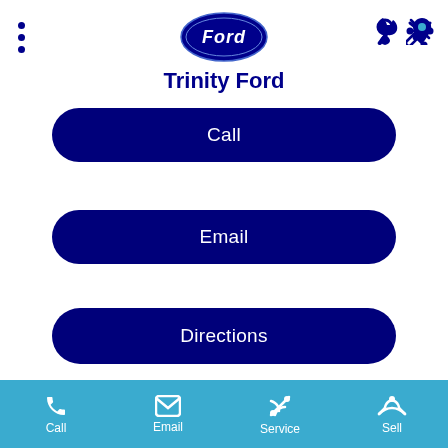[Figure (logo): Ford oval logo in blue and white, centered at top]
Trinity Ford
Call
Email
Directions
Service Department
94 McLeod Street,
Call  Email  Service  Sell